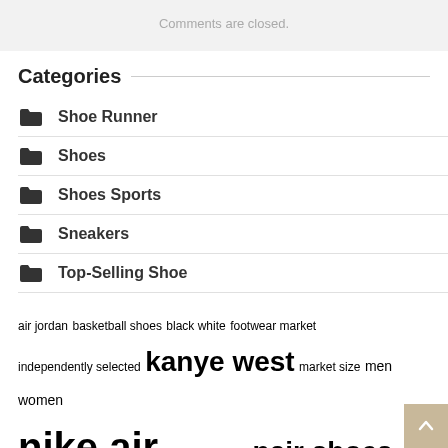Comments are closed.
Categories
Shoe Runner
Shoes
Shoes Sports
Sneakers
Top-Selling Shoe
air jordan  basketball shoes  black white  footwear market  independently selected  kanye west  market size  men women  nike air  north america  pair shoes  pair sneakers  running shoes